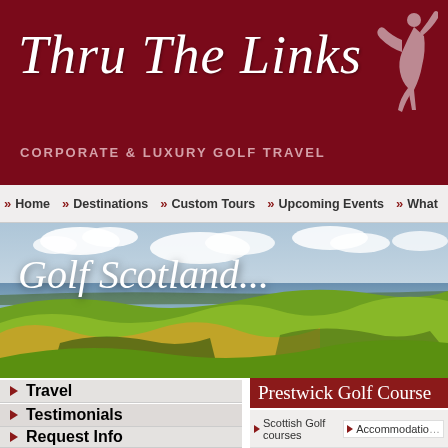[Figure (screenshot): Thru The Links website header with dark red/maroon background, script logo text, golfer silhouette, subtitle 'CORPORATE & LUXURY GOLF TRAVEL']
Home   Destinations   Custom Tours   Upcoming Events   What
[Figure (photo): Scottish links golf course panorama showing rolling green fairways with yellow rough, sea/ocean in background, blue sky with white clouds, overlaid with italic text 'Golf Scotland...']
Travel
Testimonials
Request Info
Prestwick Golf Course
Scottish Golf courses   Accommodation